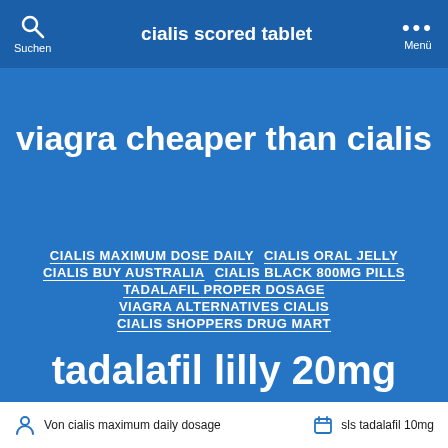Suchen  |  cialis scored tablet  |  Menü
viagra cheaper than cialis
CIALIS MAXIMUM DOSE DAILY
CIALIS ORAL JELLY
CIALIS BUY AUSTRALIA
CIALIS BLACK 800MG PILLS
TADALAFIL PROPER DOSAGE
VIAGRA ALTERNATIVES CIALIS
CIALIS SHOPPERS DRUG MART
tadalafil lilly 20mg
Von cialis maximum daily dosage    sls tadalafil 10mg